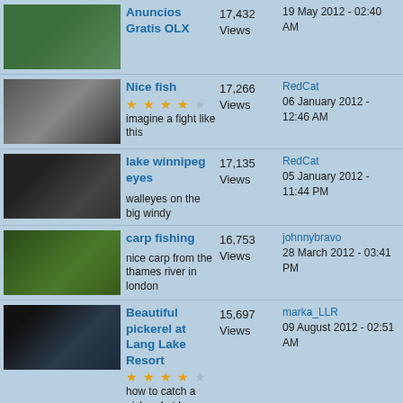Anuncios Gratis OLX | 17,432 Views | 19 May 2012 - 02:40 AM
Nice fish | 17,266 Views | RedCat | 06 January 2012 - 12:46 AM | imagine a fight like this
lake winnipeg eyes | 17,135 Views | RedCat | 05 January 2012 - 11:44 PM | walleyes on the big windy
carp fishing | 16,753 Views | johnnybravo | 28 March 2012 - 03:41 PM | nice carp from the thames river in london
Beautiful pickerel at Lang Lake Resort | 15,697 Views | marka_LLR | 09 August 2012 - 02:51 AM | how to catch a pickerel at Lang Lake
Nipigon River Adventures - Brook Trout Pt#2 | 14,754 Views | SmackUm | 19 July 2012 - 09:19 PM | Northern Ontario
Huge Lake Trout | 14,640 Views | marka_LLR | 09 August 2012 - 02:48 AM | Huge lake trout at lang lake resort
Nipigon River Adventures- Brook Trout Pt1 | 14,535 | SmackUm